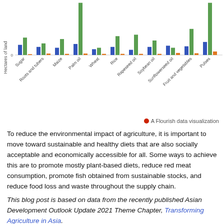[Figure (grouped-bar-chart): Hectares of land per crop]
A Flourish data visualization
To reduce the environmental impact of agriculture, it is important to move toward sustainable and healthy diets that are also socially acceptable and economically accessible for all. Some ways to achieve this are to promote mostly plant-based diets, reduce red meat consumption, promote fish obtained from sustainable stocks, and reduce food loss and waste throughout the supply chain.
This blog post is based on data from the recently published Asian Development Outlook Update 2021 Theme Chapter, Transforming Agriculture in Asia.